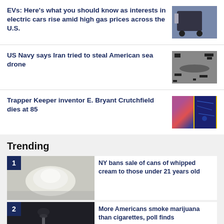EVs: Here's what you should know as interests in electric cars rise amid high gas prices across the U.S.
[Figure (photo): Man plugging in an electric vehicle]
US Navy says Iran tried to steal American sea drone
[Figure (photo): Aerial view of sea drone, black and white]
Trapper Keeper inventor E. Bryant Crutchfield dies at 85
[Figure (photo): Colorful Trapper Keeper binders on yellow background]
Trending
NY bans sale of cans of whipped cream to those under 21 years old
[Figure (photo): Whipped cream in a bowl]
More Americans smoke marijuana than cigarettes, poll finds
[Figure (photo): Person smoking]